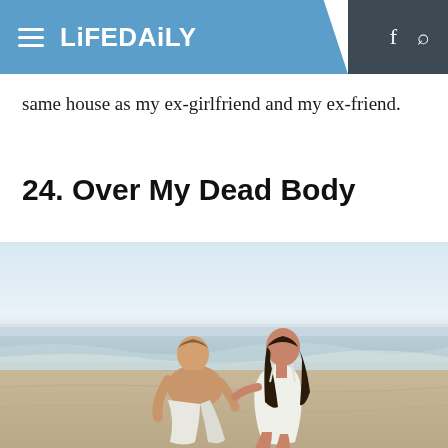LiFEDAiLY
same house as my ex-girlfriend and my ex-friend.
24. Over My Dead Body
[Figure (photo): A man and woman sitting together on a beach, looking at each other. Both are dressed in white. The beach scene has waves and a pale sky in the background.]